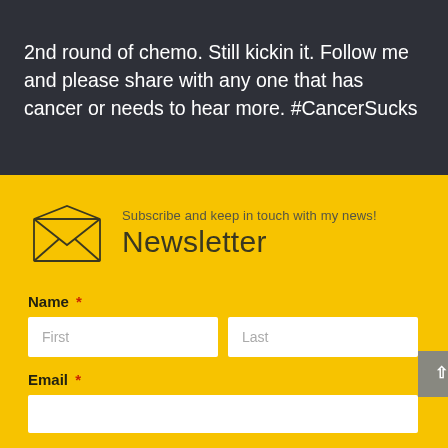2nd round of chemo. Still kickin it. Follow me and please share with any one that has cancer or needs to hear more. #CancerSucks
Subscribe and keep in touch with my news!
Newsletter
Name *
Email *